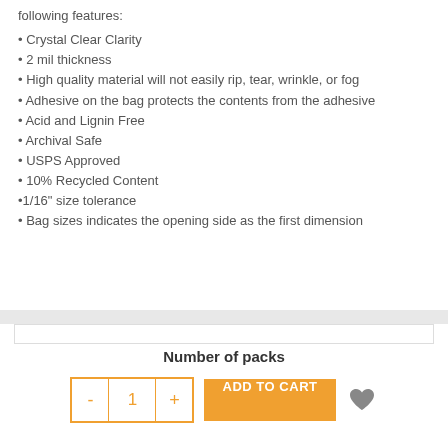following features:
Crystal Clear Clarity
2 mil thickness
High quality material will not easily rip, tear, wrinkle, or fog
Adhesive on the bag protects the contents from the adhesive
Acid and Lignin Free
Archival Safe
USPS Approved
10% Recycled Content
1/16" size tolerance
Bag sizes indicates the opening side as the first dimension
Number of packs
- 1 + ADD TO CART ♥